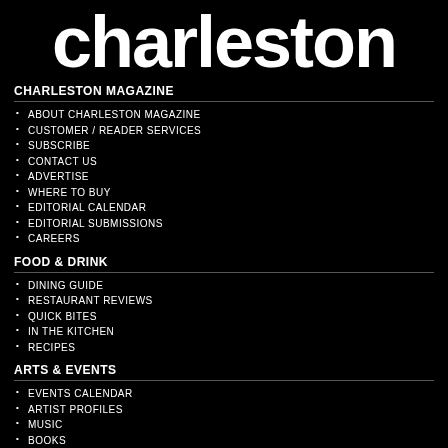charleston
CHARLESTON MAGAZINE
ABOUT CHARLESTON MAGAZINE
CUSTOMER / READER SERVICES
SUBSCRIBE
CONTACT US
ADVERTISE
WHERE TO BUY
EDITORIAL CALENDAR
EDITORIAL SUBMISSIONS
CAREERS
FOOD & DRINK
DINING GUIDE
RESTAURANT REVIEWS
QUICK BITES
IN THE KITCHEN
RECIPES
ARTS & EVENTS
EVENTS CALENDAR
ARTIST PROFILES
MUSIC
BOOKS
EDITORS' PICKS
PARTY SCENE